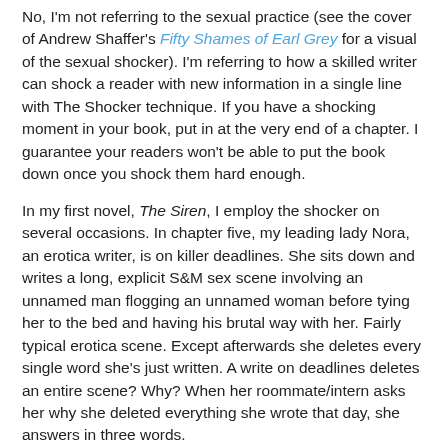No, I'm not referring to the sexual practice (see the cover of Andrew Shaffer's Fifty Shames of Earl Grey for a visual of the sexual shocker). I'm referring to how a skilled writer can shock a reader with new information in a single line with The Shocker technique. If you have a shocking moment in your book, put in at the very end of a chapter. I guarantee your readers won't be able to put the book down once you shock them hard enough.
In my first novel, The Siren, I employ the shocker on several occasions. In chapter five, my leading lady Nora, an erotica writer, is on killer deadlines. She sits down and writes a long, explicit S&M sex scene involving an unnamed man flogging an unnamed woman before tying her to the bed and having his brutal way with her. Fairly typical erotica scene. Except afterwards she deletes every single word she's just written. A write on deadlines deletes an entire scene? Why? When her roommate/intern asks her why she deleted everything she wrote that day, she answers in three words.
“It wasn’t fiction.”
BAM! Now the reader knows that the unnamed woman is